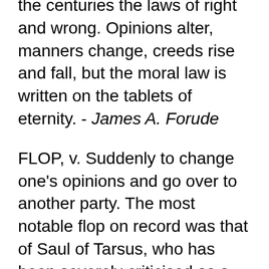the centuries the laws of right and wrong. Opinions alter, manners change, creeds rise and fall, but the moral law is written on the tablets of eternity. - James A. Forude
FLOP, v. Suddenly to change one's opinions and go over to another party. The most notable flop on record was that of Saul of Tarsus, who has been severely criticised as a turn-coat by some of our partisan journals. - Ambrose Bierce
A great many people mistake opinions for thought. - Herbert V. Prochnow
Sane and intelligent human beings are like all other human beings, and carefully and